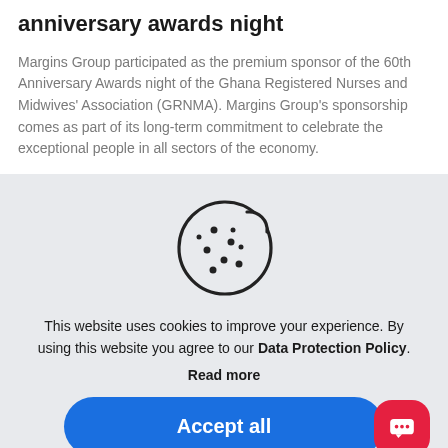Margins Group sponsors GRNMA 60th anniversary awards night
Margins Group participated as the premium sponsor of the 60th Anniversary Awards night of the Ghana Registered Nurses and Midwives' Association (GRNMA). Margins Group's sponsorship comes as part of its long-term commitment to celebrate the exceptional people in all sectors of the economy.
[Figure (illustration): Cookie icon — a round cookie with a bite taken out of the top right, with dots representing chocolate chips, drawn in a thin dark outline style.]
This website uses cookies to improve your experience. By using this website you agree to our Data Protection Policy.
Read more
Accept all